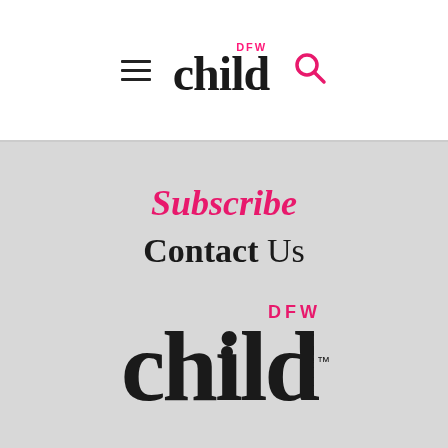[Figure (logo): DFW Child magazine logo with hamburger menu icon and search icon in white header bar]
Subscribe
Contact Us
[Figure (logo): Large DFW Child magazine logo in gray footer section]